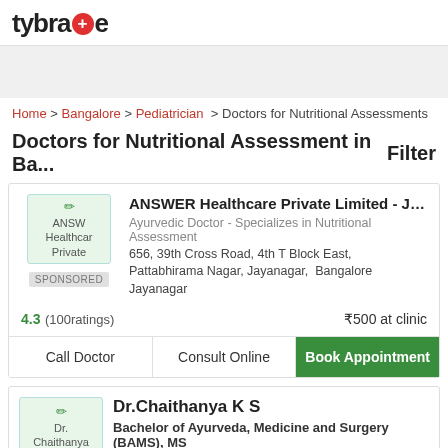tybra+e
Home > Bangalore > Pediatrician > Doctors for Nutritional Assessments
Doctors for Nutritional Assessment in Ba...   Filter
ANSWER Healthcare Private Limited - Jayanagar
Ayurvedic Doctor - Specializes in Nutritional Assessment
656, 39th Cross Road, 4th T Block East, Pattabhirama Nagar, Jayanagar, Bangalore Jayanagar
SPONSORED
4.3 (100ratings)   ₹500 at clinic
Call Doctor   Consult Online   Book Appointment
Dr.Chaithanya K S
Bachelor of Ayurveda, Medicine and Surgery (BAMS), MS
Ayurvedic Doctor - Specializes in Nutritional Assessment